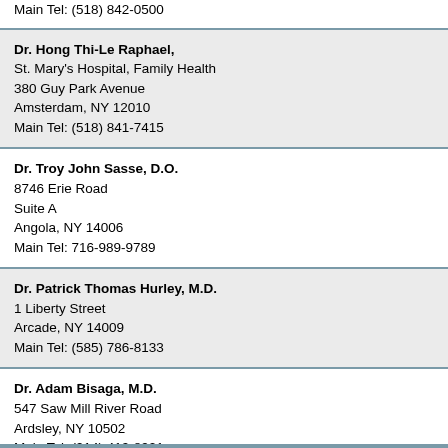Main Tel: (518) 842-0500
Dr. Hong Thi-Le Raphael,
St. Mary's Hospital, Family Health
380 Guy Park Avenue
Amsterdam, NY 12010
Main Tel: (518) 841-7415
Dr. Troy John Sasse, D.O.
8746 Erie Road
Suite A
Angola, NY 14006
Main Tel: 716-989-9789
Dr. Patrick Thomas Hurley, M.D.
1 Liberty Street
Arcade, NY 14009
Main Tel: (585) 786-8133
Dr. Adam Bisaga, M.D.
547 Saw Mill River Road
Ardsley, NY 10502
Main Tel: (914) 419-8921